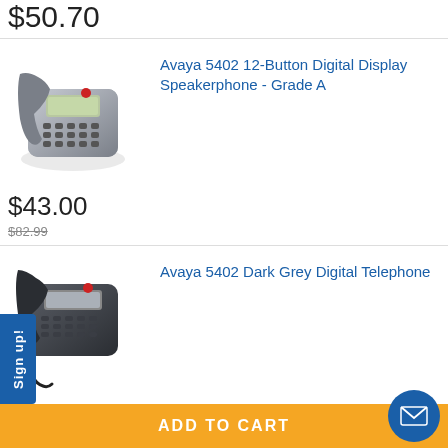$50.70
[Figure (photo): Avaya 5402 12-Button Digital Display Speakerphone - silver/grey desk phone]
Avaya 5402 12-Button Digital Display Speakerphone - Grade A
$43.00
$82.99
[Figure (photo): Avaya 5402 Dark Grey Digital Telephone - dark grey desk phone]
Avaya 5402 Dark Grey Digital Telephone
$9.99
Sign up!
ADD TO CART